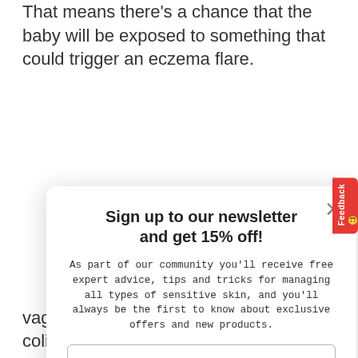That means there's a chance that the baby will be exposed to something that could trigger an eczema flare.
[Figure (screenshot): Newsletter signup modal overlay with title 'Sign up to our newsletter and get 15% off!', descriptive text, email input field, and green Sign up button. An X close button is in the top right. A red Feedback tab is on the right edge.]
vague! They may have dry, itchy skin, colic or just